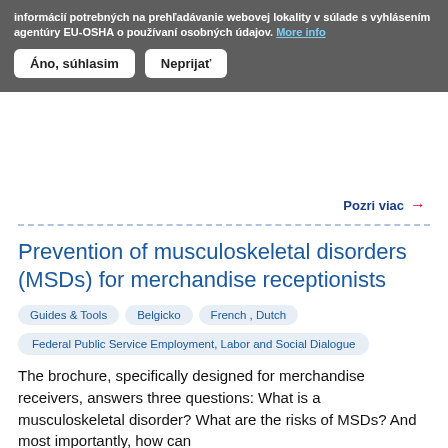informácií potrebných na prehľadávanie webovej lokality v súlade s vyhlásením agentúry EU-OSHA o používaní osobných údajov. More info
illustrated wi... ...ork situations.
Pozri viac →
Prevention of musculoskeletal disorders (MSDs) for merchandise receptionists
Guides & Tools
Belgicko
French , Dutch
Federal Public Service Employment, Labor and Social Dialogue
The brochure, specifically designed for merchandise receivers, answers three questions: What is a musculoskeletal disorder? What are the risks of MSDs? And most importantly, how can